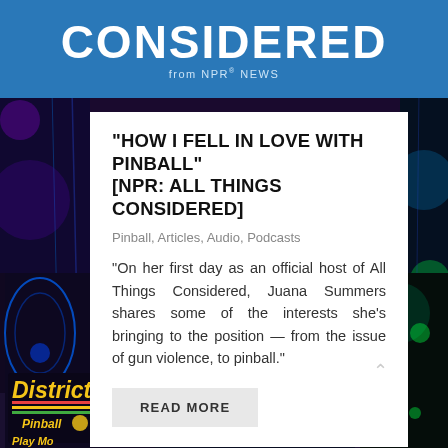CONSIDERED from NPR NEWS
“HOW I FELL IN LOVE WITH PINBALL” [NPR: ALL THINGS CONSIDERED]
Pinball, Articles, Audio, Podcasts
“On her first day as an official host of All Things Considered, Juana Summers shares some of the interests she’s bringing to the position — from the issue of gun violence, to pinball.”
READ MORE
[Figure (photo): Pinball arcade scene with District 82 Pinball machine sign and red crate, with 'Sheets In Here' label sign visible]